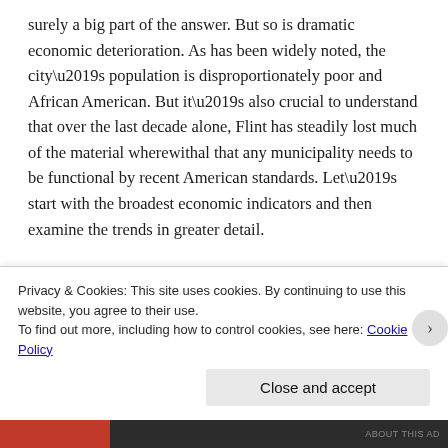surely a big part of the answer. But so is dramatic economic deterioration. As has been widely noted, the city’s population is disproportionately poor and African American. But it’s also crucial to understand that over the last decade alone, Flint has steadily lost much of the material wherewithal that any municipality needs to be functional by recent American standards. Let’s start with the broadest economic indicators and then examine the trends in greater detail.
It’s tough for any country or community to
Privacy & Cookies: This site uses cookies. By continuing to use this website, you agree to their use.
To find out more, including how to control cookies, see here: Cookie Policy
Close and accept